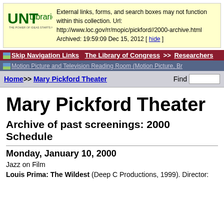[Figure (logo): UNT Libraries logo with green text]
External links, forms, and search boxes may not function within this collection. Url: http://www.loc.gov/rr/mopic/pickford//2000-archive.html Archived: 19:59:09 Dec 15, 2012 [ hide ]
Skip Navigation Links | The Library of Congress >> Researchers
Motion Picture and Television Reading Room (Motion Picture, Br...
Home >> Mary Pickford Theater | Find [search box]
Mary Pickford Theater
Archive of past screenings: 2000 Schedule
Monday, January 10, 2000
Jazz on Film
Louis Prima: The Wildest (Deep C Productions, 1999). Director: